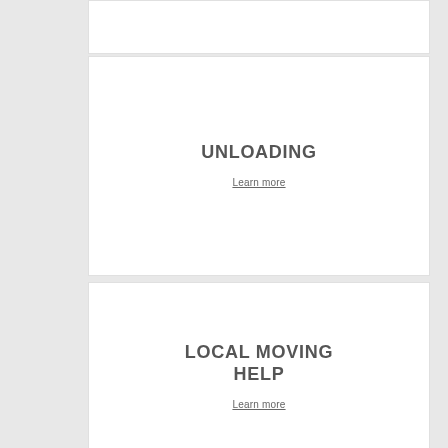UNLOADING
Learn more
LOCAL MOVING HELP
Learn more